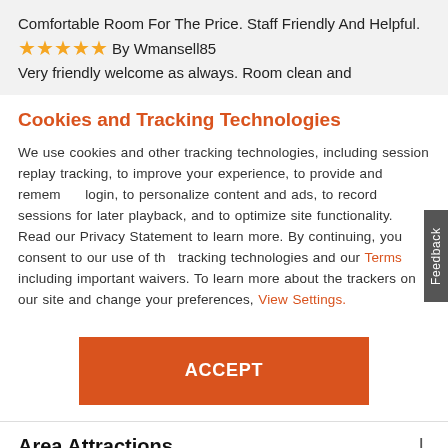Comfortable Room For The Price. Staff Friendly And Helpful.
★★★★★ By Wmansell85
Very friendly welcome as always. Room clean and
Cookies and Tracking Technologies
We use cookies and other tracking technologies, including session replay tracking, to improve your experience, to provide and remember login, to personalize content and ads, to record sessions for later playback, and to optimize site functionality. Read our Privacy Statement to learn more. By continuing, you consent to our use of the tracking technologies and our Terms including important waivers. To learn more about the trackers on our site and change your preferences, View Settings.
ACCEPT
Area Attractions